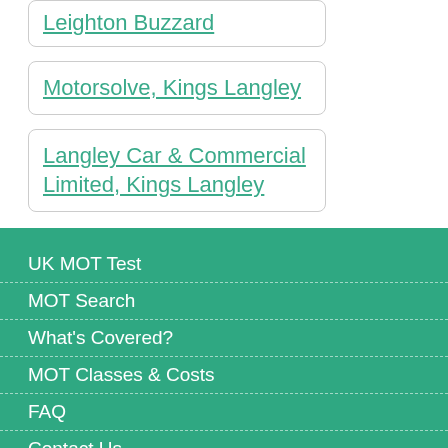Leighton Buzzard
Motorsolve, Kings Langley
Langley Car & Commercial Limited, Kings Langley
UK MOT Test
MOT Search
What's Covered?
MOT Classes & Costs
FAQ
Contact Us